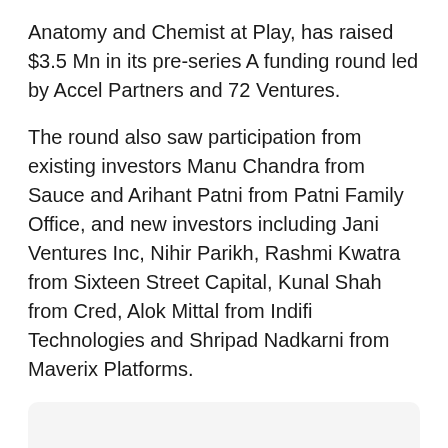Anatomy and Chemist at Play, has raised $3.5 Mn in its pre-series A funding round led by Accel Partners and 72 Ventures.
The round also saw participation from existing investors Manu Chandra from Sauce and Arihant Patni from Patni Family Office, and new investors including Jani Ventures Inc, Nihir Parikh, Rashmi Kwatra from Sixteen Street Capital, Kunal Shah from Cred, Alok Mittal from Indifi Technologies and Shripad Nadkarni from Maverix Platforms.
[Figure (other): Light grey rounded rectangle placeholder image box]
Innovist will deploy the funds to fortify research and development activities, hire talent across verticals, and strengthen marketing as well as its distribution channels.